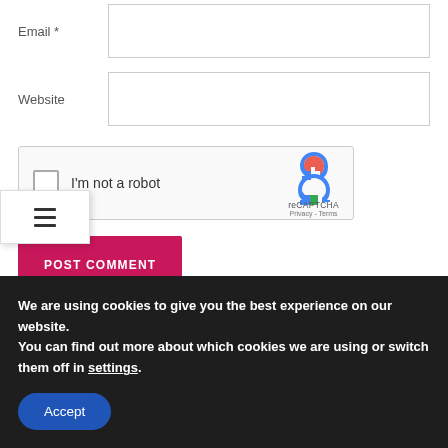Email *
Website
[Figure (other): reCAPTCHA widget with checkbox and 'I'm not a robot' text, reCAPTCHA logo with Privacy - Terms links]
[Figure (other): Hamburger menu icon (three horizontal lines) in a white box overlay]
POST COMMENT
We are using cookies to give you the best experience on our website.
You can find out more about which cookies we are using or switch them off in settings.
Accept